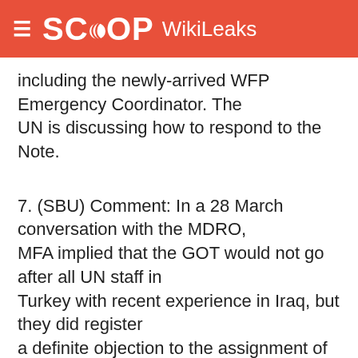SCOOP WikiLeaks
including the newly-arrived WFP Emergency Coordinator. The UN is discussing how to respond to the Note.
7. (SBU) Comment: In a 28 March conversation with the MDRO, MFA implied that the GOT would not go after all UN staff in Turkey with recent experience in Iraq, but they did register a definite objection to the assignment of a new Emergency Coordinator, who most recently served in Erbil,